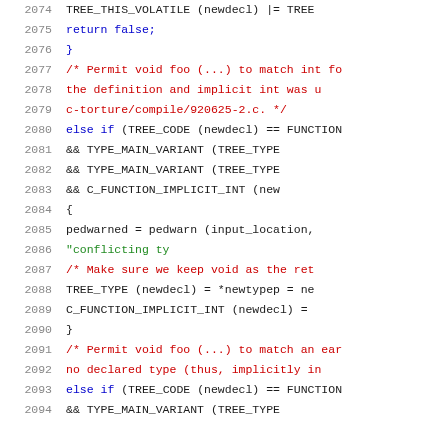Source code listing, lines 2074-2094
2074: TREE_THIS_VOLATILE (newdecl) |= TREE...
2075: return false;
2076: }
2077: /* Permit void foo (...) to match int fo
2078: the definition and implicit int was u
2079: c-torture/compile/920625-2.c. */
2080: else if (TREE_CODE (newdecl) == FUNCTION
2081: && TYPE_MAIN_VARIANT (TREE_TYPE
2082: && TYPE_MAIN_VARIANT (TREE_TYPE
2083: && C_FUNCTION_IMPLICIT_INT (new
2084: {
2085: pedwarned = pedwarn (input_location,
2086: "conflicting ty
2087: /* Make sure we keep void as the ret
2088: TREE_TYPE (newdecl) = *newtypep = ne
2089: C_FUNCTION_IMPLICIT_INT (newdecl) =
2090: }
2091: /* Permit void foo (...) to match an ear
2092: no declared type (thus, implicitly in
2093: else if (TREE_CODE (newdecl) == FUNCTION
2094: && TYPE_MAIN_VARIANT (TREE_TYPE